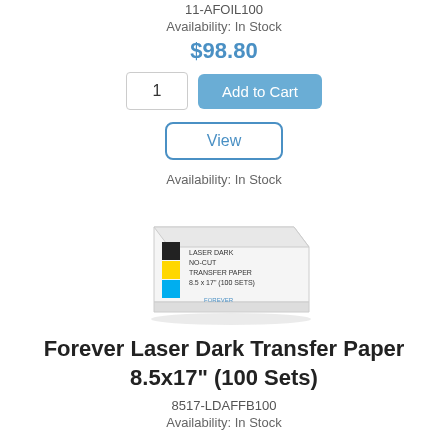11-AFOIL100
Availability: In Stock
$98.80
1
Add to Cart
View
Availability: In Stock
[Figure (photo): Product box of Forever Laser Dark Transfer Paper 8.5x17 with CMYK color swatches on the front]
Forever Laser Dark Transfer Paper 8.5x17" (100 Sets)
8517-LDAFFB100
Availability: In Stock